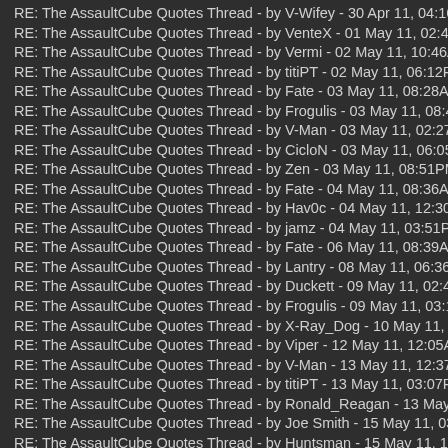RE: The AssaultCube Quotes Thread - by V-Wifey - 30 Apr 11, 04:16AM
RE: The AssaultCube Quotes Thread - by VenteX - 01 May 11, 02:41AM
RE: The AssaultCube Quotes Thread - by Vermi - 02 May 11, 10:46AM
RE: The AssaultCube Quotes Thread - by titiPT - 02 May 11, 06:12PM
RE: The AssaultCube Quotes Thread - by Fate - 03 May 11, 08:28AM
RE: The AssaultCube Quotes Thread - by Frogulis - 03 May 11, 08:41AM
RE: The AssaultCube Quotes Thread - by V-Man - 03 May 11, 02:27PM
RE: The AssaultCube Quotes Thread - by CicloN - 03 May 11, 06:05PM
RE: The AssaultCube Quotes Thread - by Zen - 03 May 11, 08:51PM
RE: The AssaultCube Quotes Thread - by Fate - 04 May 11, 08:36AM
RE: The AssaultCube Quotes Thread - by Hav0c - 04 May 11, 12:30PM
RE: The AssaultCube Quotes Thread - by jamz - 04 May 11, 03:51PM
RE: The AssaultCube Quotes Thread - by Fate - 06 May 11, 08:39AM
RE: The AssaultCube Quotes Thread - by Lantry - 08 May 11, 06:36PM
RE: The AssaultCube Quotes Thread - by Duckett - 09 May 11, 02:49AM
RE: The AssaultCube Quotes Thread - by Frogulis - 09 May 11, 03:14PM
RE: The AssaultCube Quotes Thread - by X-Ray_Dog - 10 May 11, 08:06AM
RE: The AssaultCube Quotes Thread - by Viper - 12 May 11, 12:05AM
RE: The AssaultCube Quotes Thread - by V-Man - 13 May 11, 12:37PM
RE: The AssaultCube Quotes Thread - by titiPT - 13 May 11, 03:07PM
RE: The AssaultCube Quotes Thread - by Ronald_Reagan - 13 May 11, 10:45P
RE: The AssaultCube Quotes Thread - by Joe Smith - 15 May 11, 03:34AM
RE: The AssaultCube Quotes Thread - by Huntsman - 15 May 11, 11:29AM
RE: The AssaultCube Quotes Thread - by Duckett - 15 May 11, 11:49PM
RE: The AssaultCube Quotes Thread - by ... - 16 May 11, 09:11AM